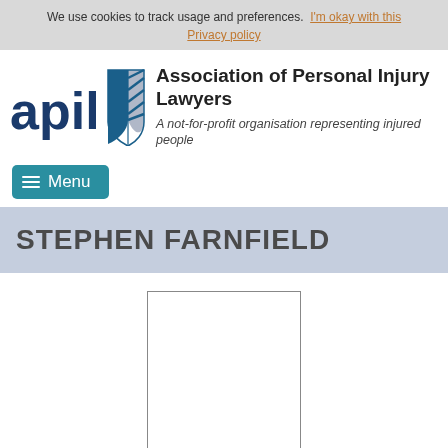We use cookies to track usage and preferences.  I'm okay with this  Privacy policy
[Figure (logo): APIL logo - text 'apil' in dark blue with a shield graphic in blue and grey]
Association of Personal Injury Lawyers
A not-for-profit organisation representing injured people
STEPHEN FARNFIELD
[Figure (photo): Empty photo placeholder box with border]